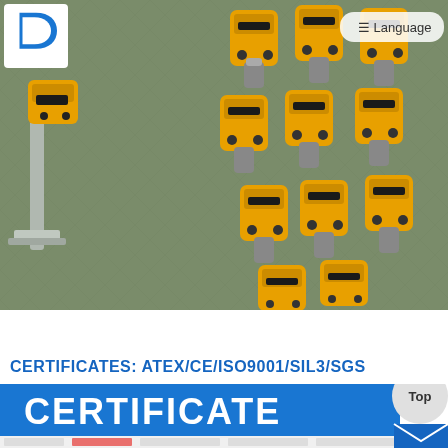[Figure (photo): Multiple yellow industrial instruments (vibration or level sensors/transmitters) with metallic connectors, laid out on a gray tarpaulin. A company logo appears in the top-left corner and a Language button in the top-right.]
CERTIFICATES:  ATEX/CE/ISO9001/SIL3/SGS
[Figure (illustration): Blue banner with large white bold text reading CERTIFICATE, with a circular Top button overlaid on the right, and a partial strip of certificate thumbnails below.]